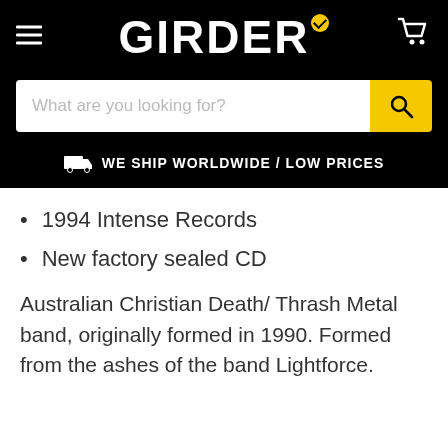GIRDER
What are you looking for?
WE SHIP WORLDWIDE / LOW PRICES
1994 Intense Records
New factory sealed CD
Australian Christian Death/ Thrash Metal band, originally formed in 1990. Formed from the ashes of the band Lightforce.